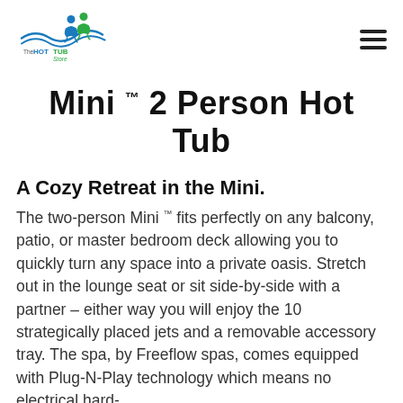The HOT TUB Store
Mini ™ 2 Person Hot Tub
A Cozy Retreat in the Mini.
The two-person Mini ™ fits perfectly on any balcony, patio, or master bedroom deck allowing you to quickly turn any space into a private oasis. Stretch out in the lounge seat or sit side-by-side with a partner – either way you will enjoy the 10 strategically placed jets and a removable accessory tray. The spa, by Freeflow spas, comes equipped with Plug-N-Play technology which means no electrical hard-